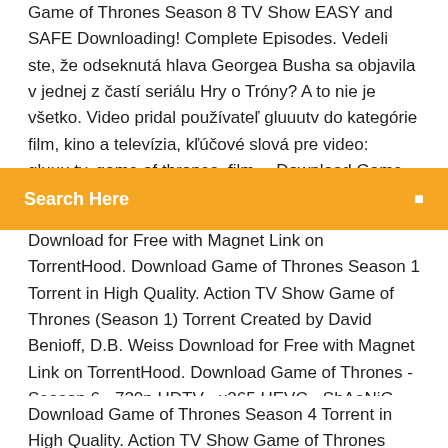Game of Thrones Season 8 TV Show EASY and SAFE Downloading! Complete Episodes. Vedeli ste, že odseknutá hlava Georgea Busha sa objavila v jednej z častí seriálu Hry o Tróny? A to nie je všetko. Video pridal používateľ gluuutv do kategórie film, kino a televízia, kľúčové slová pre video: gluuu.tv, game of thrones, film… Download Game of Thrones Season 5 Torrent (All Seasons in torrent) TV Show Season 5 The
Search Here
Download for Free with Magnet Link on TorrentHood. Download Game of Thrones Season 1 Torrent in High Quality. Action TV Show Game of Thrones (Season 1) Torrent Created by David Benioff, D.B. Weiss Download for Free with Magnet Link on TorrentHood. Download Game of Thrones - Season 6 - 720p HDTV - x265 HEVC - ShAaNiG torrent or any other torrent from the Video HD - TV shows. Direct download via magnet link.
Download Game of Thrones Season 4 Torrent in High Quality. Action TV Show Game of Thrones (Season 4) Torrent Created